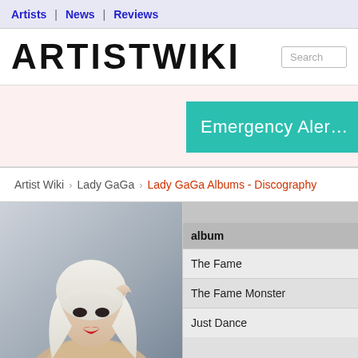Artists | News | Reviews
ARTISTWIKI
[Figure (illustration): Teal/green Emergency Alert banner partially visible on right side]
Artist Wiki › Lady GaGa › Lady GaGa Albums - Discography
[Figure (photo): Photo of Lady GaGa with platinum blonde hair and red lips against a grey background]
| album |
| --- |
| The Fame |
| The Fame Monster |
| Just Dance |